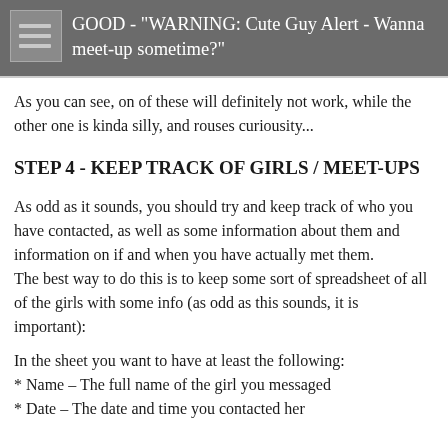[Figure (screenshot): Dark gray header bar with menu icon and text: GOOD - "WARNING: Cute Guy Alert - Wanna meet-up sometime?"]
As you can see, on of these will definitely not work, while the other one is kinda silly, and rouses curiousity...
STEP 4 - KEEP TRACK OF GIRLS / MEET-UPS
As odd as it sounds, you should try and keep track of who you have contacted, as well as some information about them and information on if and when you have actually met them.
The best way to do this is to keep some sort of spreadsheet of all of the girls with some info (as odd as this sounds, it is important):
In the sheet you want to have at least the following:
* Name – The full name of the girl you messaged
* Date – The date and time you contacted her